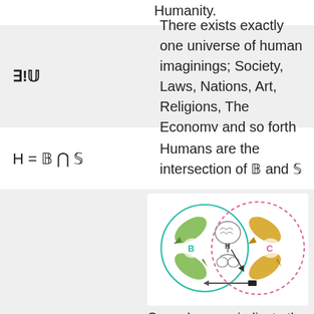Humanity.
| ∃!𝕌 | There exists exactly one universe of human imaginings; Society, Laws, Nations, Art, Religions, The Economy and so forth |
| H = 𝔹 ∩ 𝕊 | Humans are the intersection of 𝔹 and 𝕊 |
[Figure (illustration): Venn diagram showing two overlapping circles: left circle (teal/green solid line, labeled B) with green curved arrows, right circle (pink dashed line, labeled C) with yellow/gold curved arrows, center shows a human figure with brain and hands labeled H with arrows indicating intersection.]
Curved arrows indicate the complexity within 𝔹 and 𝕊